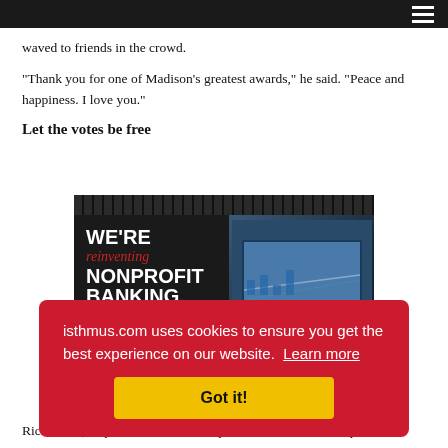waved to friends in the crowd.
“Thank you for one of Madison’s greatest awards,” he said. “Peace and happiness. I love you.”
Let the votes be free
[Figure (photo): Advertisement for Park Bank featuring text 'WE’RE reinventing NONPROFIT BANKING' on dark background with a photo of a person pointing at a screen on the right side.]
isthmus.com uses cookies to ensure you get the best experience on our website. Learn more
Got it!
Rick Tvedt, Roy Elkins and the many others who donate heaps of